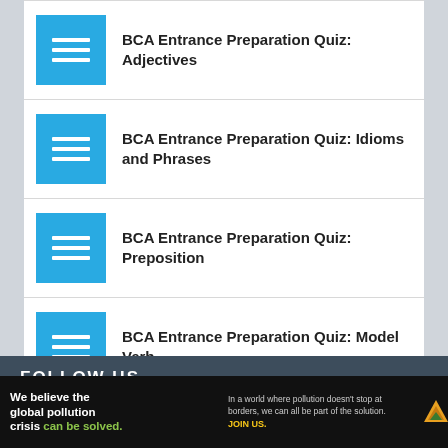BCA Entrance Preparation Quiz: Adjectives
BCA Entrance Preparation Quiz: Idioms and Phrases
BCA Entrance Preparation Quiz: Preposition
BCA Entrance Preparation Quiz: Model Verb
FOLLOW US
[Figure (infographic): Pure Earth advertisement banner: 'We believe the global pollution crisis can be solved. In a world where pollution doesn't stop at borders, we can all be part of the solution. JOIN US.' with Pure Earth logo.]